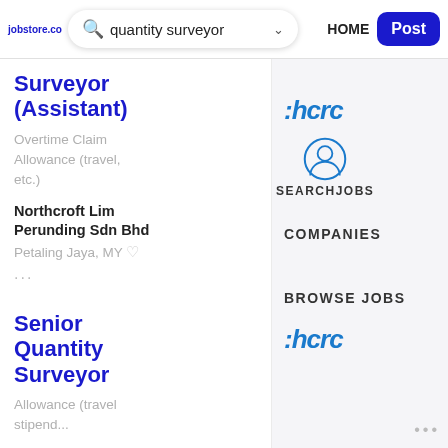jobstore.com
quantity surveyor ▾
HOME
Post
Surveyor (Assistant)
Overtime Claim Allowance (travel, etc.)
:hcrc
SEARCHJOBS
Northcroft Lim Perunding Sdn Bhd
Petaling Jaya, MY
COMPANIES
Senior Quantity Surveyor
Allowance (travel stipend...
:hcrc
BROWSE JOBS